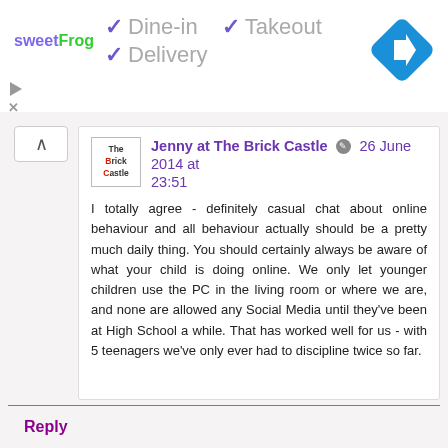[Figure (logo): sweetFrog logo with green and purple text]
✓ Dine-in  ✓ Takeout
✓ Delivery
[Figure (illustration): Blue diamond navigation icon with white right-turn arrow]
Jenny at The Brick Castle  26 June 2014 at 23:51
I totally agree - definitely casual chat about online behaviour and all behaviour actually should be a pretty much daily thing. You should certainly always be aware of what your child is doing online. We only let younger children use the PC in the living room or where we are, and none are allowed any Social Media until they've been at High School a while. That has worked well for us - with 5 teenagers we've only ever had to discipline twice so far.
Reply